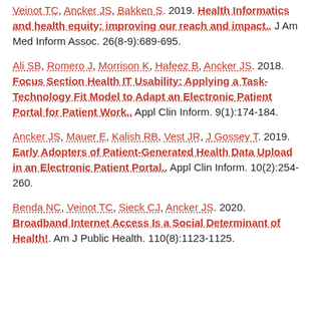Veinot TC, Ancker JS, Bakken S. 2019. Health Informatics and health equity: improving our reach and impact.. J Am Med Inform Assoc. 26(8-9):689-695.
Ali SB, Romero J, Morrison K, Hafeez B, Ancker JS. 2018. Focus Section Health IT Usability: Applying a Task-Technology Fit Model to Adapt an Electronic Patient Portal for Patient Work.. Appl Clin Inform. 9(1):174-184.
Ancker JS, Mauer E, Kalish RB, Vest JR, J Gossey T. 2019. Early Adopters of Patient-Generated Health Data Upload in an Electronic Patient Portal.. Appl Clin Inform. 10(2):254-260.
Benda NC, Veinot TC, Sieck CJ, Ancker JS. 2020. Broadband Internet Access Is a Social Determinant of Health!. Am J Public Health. 110(8):1123-1125.